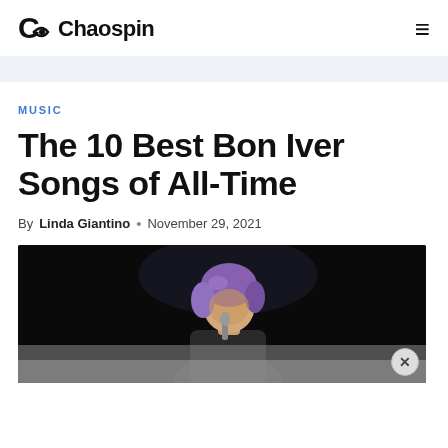Chaospin
MUSIC
The 10 Best Bon Iver Songs of All-Time
By Linda Giantino • November 29, 2021
[Figure (photo): Photo of a performer on stage with purple-tinted hair, dark background, singing or playing into a microphone]